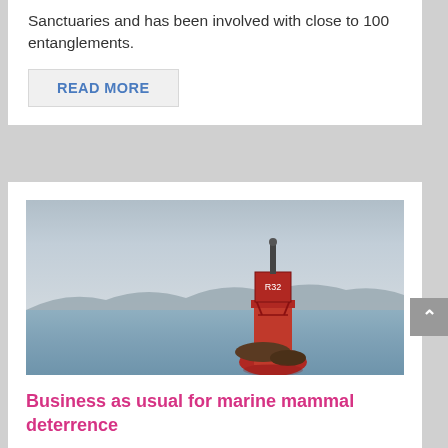Sanctuaries and has been involved with close to 100 entanglements.
READ MORE
[Figure (photo): A red navigation buoy with sea lions resting on its base, floating in calm water with mountains and cloudy sky in the background.]
Business as usual for marine mammal deterrence
by Nora Saks | Jun 16, 2017 | Featured News, Local News, News, Syndicated | 0